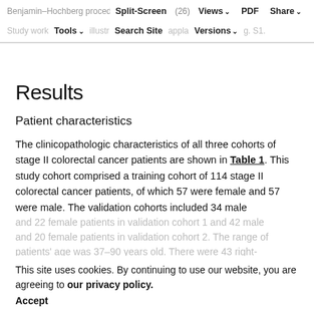Benjamin–Hochberg procedure to account for multiple hypotheses (26)
Study workflow illustrated in Supplementary Fig. S1.
Results
Patient characteristics
The clinicopathologic characteristics of all three cohorts of stage II colorectal cancer patients are shown in Table 1. This study cohort comprised a training cohort of 114 stage II colorectal cancer patients, of which 57 were female and 57 were male. The validation cohorts included 34 male and 22 female patients in validation cohort 1 and 42 male and 20 female patients in validation cohort 2. The range of patients' age was 37–90 years old. There were 43 right-sided colon carcinomas, 38 left-sided, and 33 rectal
This site uses cookies. By continuing to use our website, you are agreeing to our privacy policy. Accept